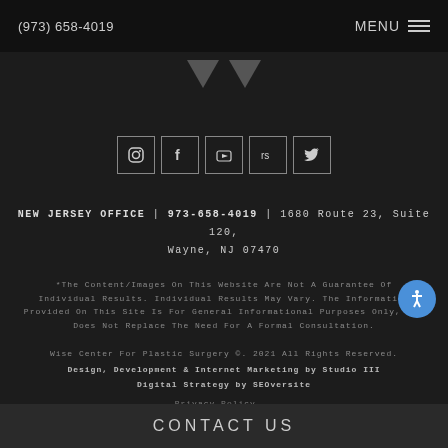(973) 658-4019  MENU
[Figure (illustration): Two trapezoid/chevron logo shapes side by side in dark gray]
[Figure (illustration): Row of five social media icon buttons: Instagram, Facebook, YouTube, RealSelf, Twitter]
NEW JERSEY OFFICE | 973-658-4019 | 1680 Route 23, Suite 120, Wayne, NJ 07470
*The Content/Images On This Website Are Not A Guarantee Of Individual Results. Individual Results May Vary. The Information Provided On This Site Is For General Informational Purposes Only, And Does Not Replace The Need For A Formal Consultation.
Wise Center For Plastic Surgery ©. 2021 All Rights Reserved.
Design, Development & Internet Marketing by Studio III
Digital Strategy by SEOversite
Privacy Policy...
CONTACT US